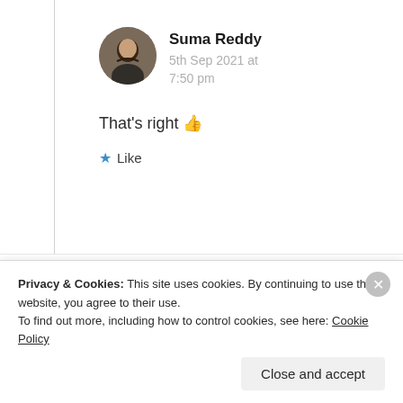Suma Reddy
5th Sep 2021 at 7:50 pm
That's right 👍
★ Like
cheryloreglia
Privacy & Cookies: This site uses cookies. By continuing to use this website, you agree to their use.
To find out more, including how to control cookies, see here: Cookie Policy
Close and accept